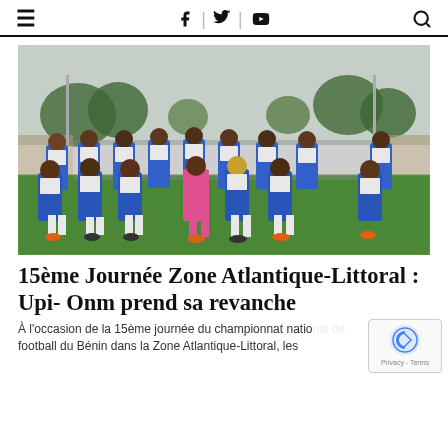≡  🅕 | 🐦 | ▶  🔍
[Figure (photo): Football team photo: approximately 12 players in blue and white uniforms with 'MPI' sponsor, posing on a green football pitch. One player in pink goalkeeper jersey in center. Trees and stadium stands visible in background.]
15ème Journée Zone Atlantique-Littoral : Upi- Onm prend sa revanche
À l'occasion de la 15ème journée du championnat natio football du Bénin dans la Zone Atlantique-Littoral, les